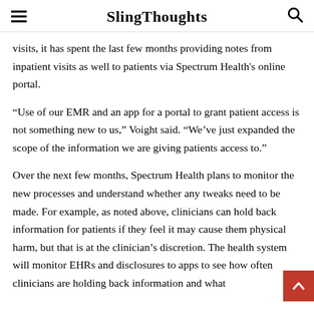SlingThoughts
visits, it has spent the last few months providing notes from inpatient visits as well to patients via Spectrum Health's online portal.
“Use of our EMR and an app for a portal to grant patient access is not something new to us,” Voight said. “We’ve just expanded the scope of the information we are giving patients access to.”
Over the next few months, Spectrum Health plans to monitor the new processes and understand whether any tweaks need to be made. For example, as noted above, clinicians can hold back information for patients if they feel it may cause them physical harm, but that is at the clinician’s discretion. The health system will monitor EHRs and disclosures to apps to see how often clinicians are holding back information and what